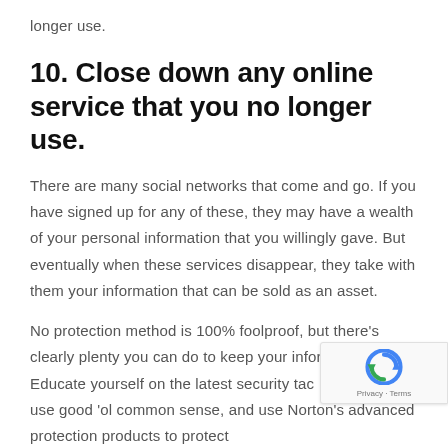longer use.
10. Close down any online service that you no longer use.
There are many social networks that come and go. If you have signed up for any of these, they may have a wealth of your personal information that you willingly gave. But eventually when these services disappear, they take with them your information that can be sold as an asset.
No protection method is 100% foolproof, but there's clearly plenty you can do to keep your information safe. Educate yourself on the latest security tactics and tricks, use good 'ol common sense, and use Norton's advanced protection products to protect